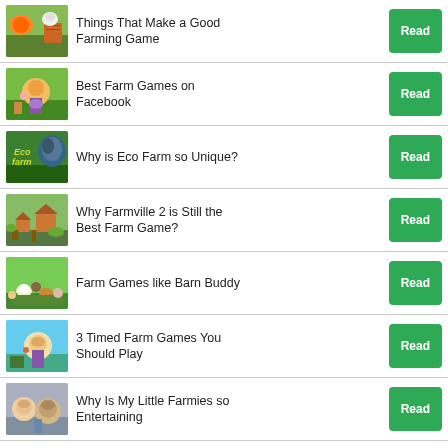Things That Make a Good Farming Game
Best Farm Games on Facebook
Why is Eco Farm so Unique?
Why Farmville 2 is Still the Best Farm Game?
Farm Games like Barn Buddy
3 Timed Farm Games You Should Play
Why Is My Little Farmies so Entertaining